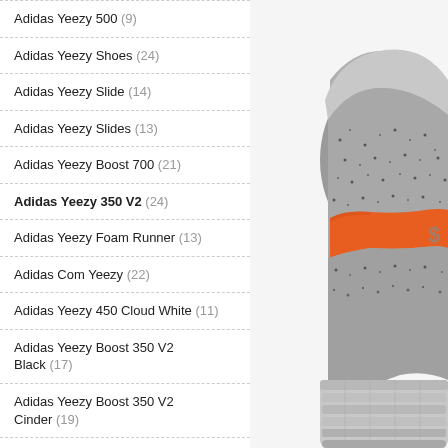Adidas Yeezy 500 (9)
Adidas Yeezy Shoes (24)
Adidas Yeezy Slide (14)
Adidas Yeezy Slides (13)
Adidas Yeezy Boost 700 (21)
Adidas Yeezy 350 V2 (24)
Adidas Yeezy Foam Runner (13)
Adidas Com Yeezy (22)
Adidas Yeezy 450 Cloud White (11)
Adidas Yeezy Boost 350 V2 Black (17)
Adidas Yeezy Boost 350 V2 Cinder (19)
Adidas Yeezy Boost 350 V2 Zebra (17)
Adidas Nmd (624)
Adidas Nmd Ca (24)
[Figure (photo): Close-up photo of an Adidas Yeezy Boost 350 V2 sneaker in gray/beluga colorway with orange stripe and speckled knit upper, showing heel and side profile against white background.]